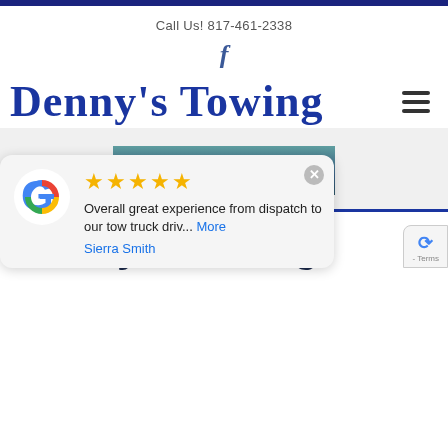Call Us! 817-461-2338
[Figure (logo): Facebook 'f' icon in blue]
Denny's Towing
[Figure (other): Hamburger menu icon (three horizontal lines)]
CALL NOW
Dennys Towing
[Figure (other): Google review popup with 5 stars, text: 'Overall great experience from dispatch to our tow truck driv... More', reviewer: Sierra Smith]